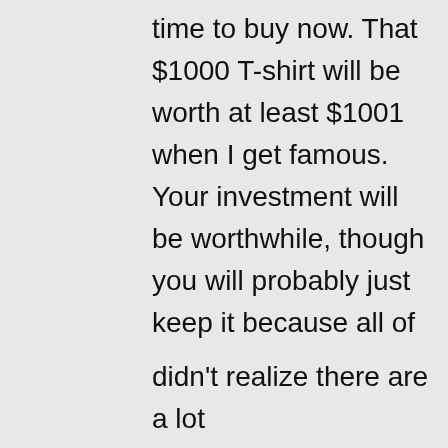time to buy now. That $1000 T-shirt will be worth at least $1001 when I get famous. Your investment will be worthwhile, though you will probably just keep it because all of the fees E-bay will charge you.
★ Like
Privacy & Cookies: This site uses cookies. By continuing to use this website, you agree to their use. To find out more, including how to control cookies, see here: Cookie Policy
Close and accept
didn't realize there are a lot